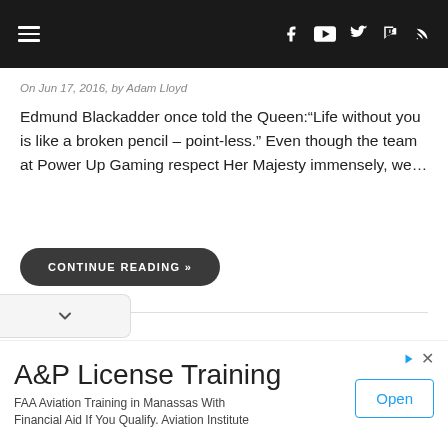Navigation bar with hamburger menu and social icons (YouTube, Twitter, Twitch, RSS)
On Jun 17, 2016, by Adam Lloyd
Edmund Blackadder once told the Queen:“Life without you is like a broken pencil – point-less.” Even though the team at Power Up Gaming respect Her Majesty immensely, we…
CONTINUE READING »
A&P License Training
FAA Aviation Training in Manassas With Financial Aid If You Qualify. Aviation Institute
Open